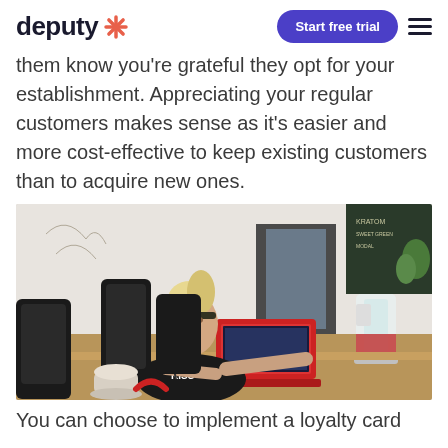deputy [logo] | Start free trial | [menu]
them know you're grateful they opt for your establishment. Appreciating your regular customers makes sense as it's easier and more cost-effective to keep existing customers than to acquire new ones.
[Figure (photo): A woman wearing a black KISS t-shirt sits at a cafe counter working on a red laptop. Black leather chairs are in the background along with a chalkboard menu and various cafe equipment including a large glass jar and blender.]
You can choose to implement a loyalty card